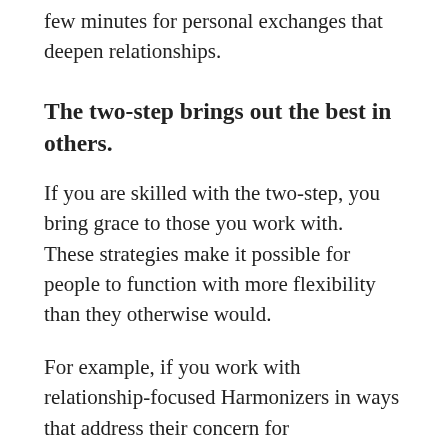few minutes for personal exchanges that deepen relationships.
The two-step brings out the best in others.
If you are skilled with the two-step, you bring grace to those you work with.   These strategies make it possible for people to function with more flexibility than they otherwise would.
For example, if you work with relationship-focused Harmonizers in ways that address their concern for relationships, they often turn out to be